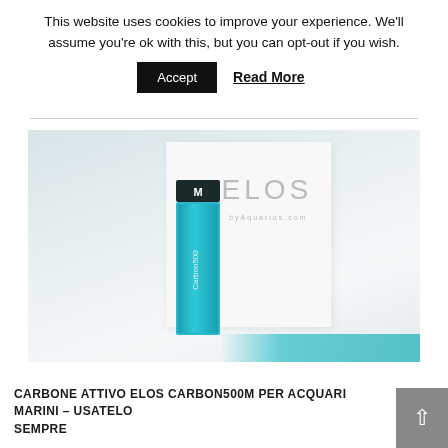This website uses cookies to improve your experience. We'll assume you're ok with this, but you can opt-out if you wish.
Accept
Read More
[Figure (photo): Product photo of ELOS Carbon500M aquarium product — a teal cylindrical container next to a white box with ELOS branding, on a light blue-grey background with teal granules visible at bottom right.]
CARBONE ATTIVO ELOS CARBON500M PER ACQUARI MARINI – USATELO SEMPRE